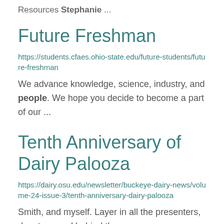Resources Stephanie ...
Future Freshman
https://students.cfaes.ohio-state.edu/future-students/future-freshman
We advance knowledge, science, industry, and people. We hope you decide to become a part of our ...
Tenth Anniversary of Dairy Palooza
https://dairy.osu.edu/newsletter/buckeye-dairy-news/volume-24-issue-3/tenth-anniversary-dairy-palooza
Smith, and myself. Layer in all the presenters, donators, and behind the